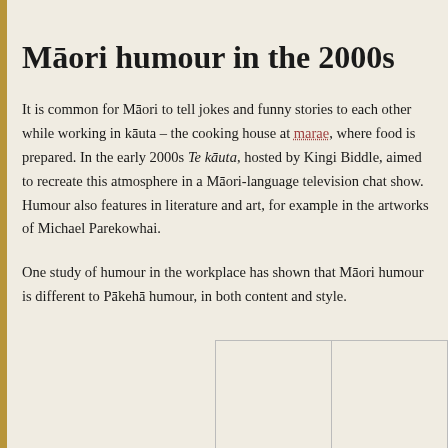Māori humour in the 2000s
It is common for Māori to tell jokes and funny stories to each other while working in kāuta – the cooking house at marae, where food is prepared. In the early 2000s Te kāuta, hosted by Kingi Biddle, aimed to recreate this atmosphere in a Māori-language television chat show. Humour also features in literature and art, for example in the artworks of Michael Parekowhai.
One study of humour in the workplace has shown that Māori humour is different to Pākehā humour, in both content and style.